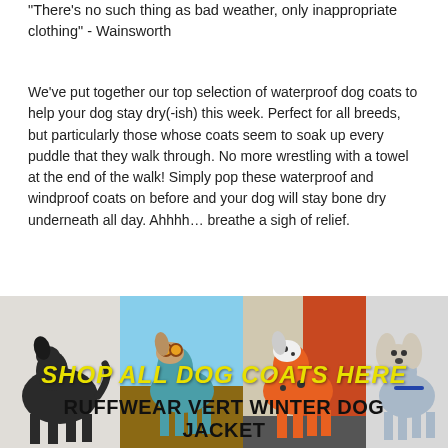"There's no such thing as bad weather, only inappropriate clothing" - Wainsworth
We've put together our top selection of waterproof dog coats to help your dog stay dry(-ish) this week. Perfect for all breeds, but particularly those whose coats seem to soak up every puddle that they walk through. No more wrestling with a towel at the end of the walk! Simply pop these waterproof and windproof coats on before and your dog will stay bone dry underneath all day. Ahhhh… breathe a sigh of relief.
[Figure (photo): Banner image showing four dogs wearing coats with overlaid yellow bold italic text reading SHOP ALL DOG COATS HERE]
RUFFWEAR VERT WINTER DOG JACKET